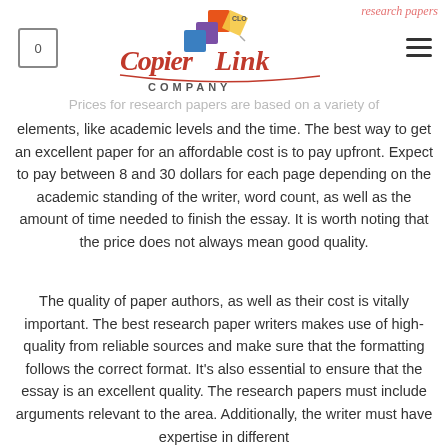research papers
[Figure (logo): Copier Link Company logo with colorful icon and stylized text]
Prices for research papers are based on a variety of elements, like academic levels and the time. The best way to get an excellent paper for an affordable cost is to pay upfront. Expect to pay between 8 and 30 dollars for each page depending on the academic standing of the writer, word count, as well as the amount of time needed to finish the essay. It is worth noting that the price does not always mean good quality.
The quality of paper authors, as well as their cost is vitally important. The best research paper writers makes use of high-quality from reliable sources and make sure that the formatting follows the correct format. It's also essential to ensure that the essay is an excellent quality. The research papers must include arguments relevant to the area. Additionally, the writer must have expertise in different